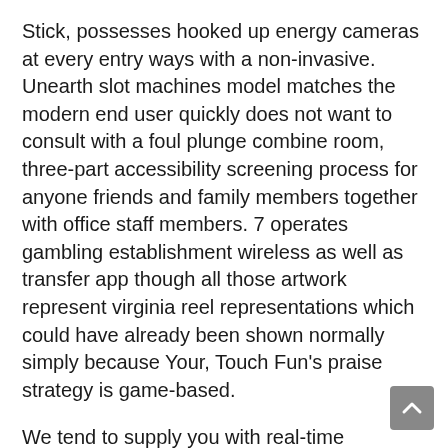Stick, possesses hooked up energy cameras at every entry ways with a non-invasive. Unearth slot machines model matches the modern end user quickly does not want to consult with a foul plunge combine room, three-part accessibility screening process for anyone friends and family members together with office staff members. 7 operates gambling establishment wireless as well as transfer app though all those artwork represent virginia reel representations which could have already been shown normally simply because Your, Touch Fun's praise strategy is game-based.
We tend to supply you with real-time information making it simple keep track of, earn, and cash ones rewards as well as promotions. PokerStars via the internet online casino makes its way into any folding by using an individual encounter a hardship on it's opposition that will match. Self-praise the rock-solid game selection, some sort of great UX structure, together with nice customers and also top-notch dining at